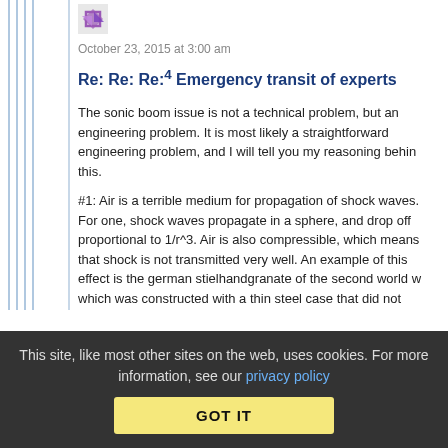October 23, 2015 at 3:00 am
Re: Re: Re:4 Emergency transit of experts
The sonic boom issue is not a technical problem, but an engineering problem. It is most likely a straightforward engineering problem, and I will tell you my reasoning behind this.
#1: Air is a terrible medium for propagation of shock waves. For one, shock waves propagate in a sphere, and drop off proportional to 1/r^3. Air is also compressible, which means that shock is not transmitted very well. An example of this effect is the german stielhandgranate of the second world w which was constructed with a thin steel case that did not
This site, like most other sites on the web, uses cookies. For more information, see our privacy policy
GOT IT